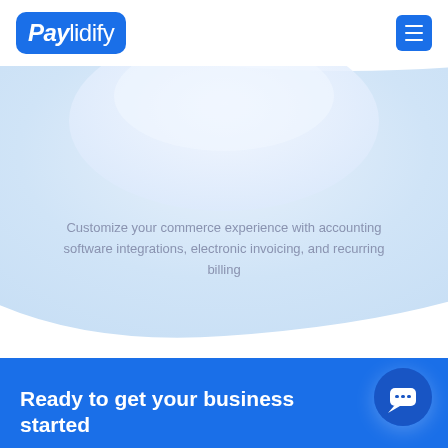[Figure (logo): Paylidify logo — blue rounded rectangle with white italic bold 'Pay' and regular 'lidify' text]
[Figure (illustration): Light blue blob/wave background shape filling upper-center portion of page]
Customize your commerce experience with accounting software integrations, electronic invoicing, and recurring billing
Ready to get your business started